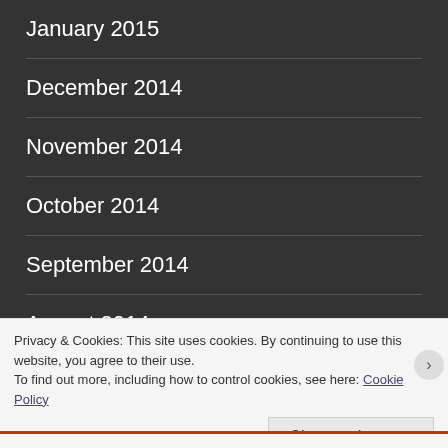January 2015
December 2014
November 2014
October 2014
September 2014
August 2014
July 2014
Privacy & Cookies: This site uses cookies. By continuing to use this website, you agree to their use.
To find out more, including how to control cookies, see here: Cookie Policy
Close and accept